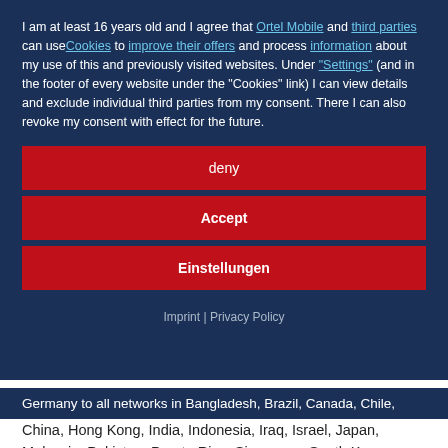I am at least 16 years old and I agree that Ortel Mobile and third parties can use Cookies to improve their offers and process information about my use of this and previously visited websites. Under "Settings" (and in the footer of every website under the "Cookies" link) I can view details and exclude individual third parties from my consent. There I can also revoke my consent with effect for the future.
deny
Accept
Einstellungen
Imprint | Privacy Policy
Germany to all networks in Bangladesh, Brazil, Canada, Chile, China, Hong Kong, India, Indonesia, Iraq, Israel, Japan, Malaysia, Pakistan, Puerto Rico, Singapore, South Korea,